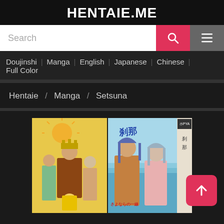HENTAIE.ME
Search
Doujinshi | Manga | English | Japanese | Chinese | Full Color
Hentaie / Manga / Setsuna
[Figure (illustration): Two manga book covers side by side. Left cover shows an ancient/historical manga with a king figure and two female characters on a yellow background with a sun. Right cover shows a modern manga with two anime girls on a beach background with Japanese text.]